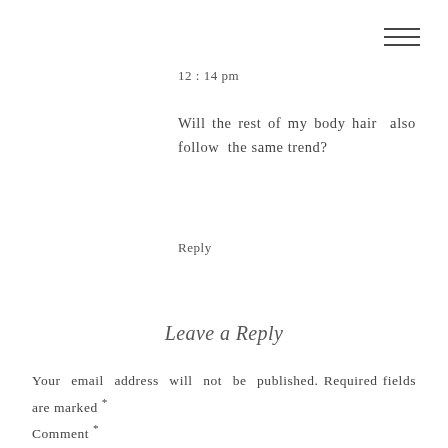12:14 pm
Will the rest of my body hair also follow the same trend?
Reply
Leave a Reply
Your email address will not be published. Required fields are marked *
Comment *